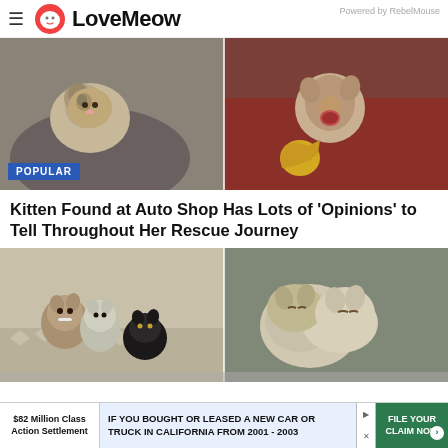LoveMeow — Powered by RebelMouse
[Figure (photo): Two photos of a tabby kitten: left photo shows kitten resting on a person's shoulder wearing a pink bow; right photo shows kitten with mouth wide open, yowling, sitting on a red surface with a yellow toy nearby. A 'POPULAR' badge overlays the bottom left.]
Kitten Found at Auto Shop Has Lots of 'Opinions' to Tell Throughout Her Rescue Journey
[Figure (photo): Two photos of kittens: left shows three small tabby/black kittens sitting together on a patterned carpet; right shows two older kittens cuddled together sleeping.]
$82 Million Class Action Settlement — IF YOU BOUGHT OR LEASED A NEW CAR OR TRUCK IN CALIFORNIA FROM 2001 - 2003 — FILE YOUR CLAIM NOW